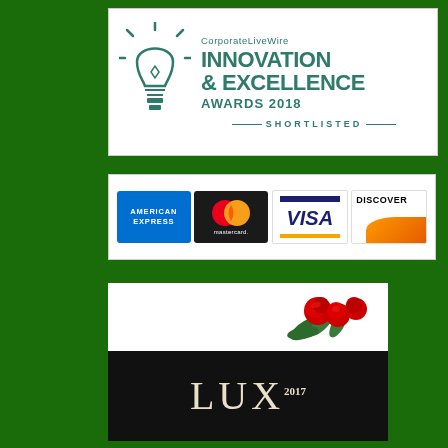[Figure (logo): CorporateLiveWire Innovation & Excellence Awards 2018 - Shortlisted badge with lightbulb icon]
[Figure (logo): Payment methods logos: American Express, Mastercard, Visa, Discover]
[Figure (logo): LUX 2017 Wedding Awards logo with red roses]